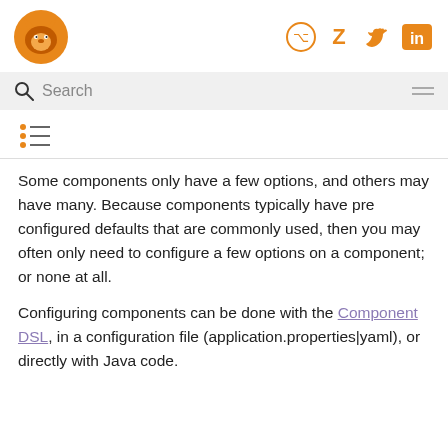Navigation header with logo and social icons (GitHub, Zulip, Twitter, LinkedIn)
[Figure (logo): Orange fox/wolf logo]
[Figure (other): Social media icons: GitHub, Zulip, Twitter, LinkedIn in orange]
[Figure (other): Search bar with magnifying glass icon and hamburger menu]
[Figure (other): Table of contents icon (list icon)]
Some components only have a few options, and others may have many. Because components typically have pre configured defaults that are commonly used, then you may often only need to configure a few options on a component; or none at all.
Configuring components can be done with the Component DSL, in a configuration file (application.properties|yaml), or directly with Java code.